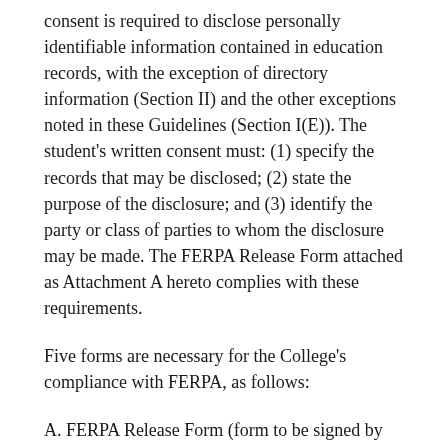consent is required to disclose personally identifiable information contained in education records, with the exception of directory information (Section II) and the other exceptions noted in these Guidelines (Section I(E)). The student's written consent must: (1) specify the records that may be disclosed; (2) state the purpose of the disclosure; and (3) identify the party or class of parties to whom the disclosure may be made. The FERPA Release Form attached as Attachment A hereto complies with these requirements.
Five forms are necessary for the College's compliance with FERPA, as follows:
A. FERPA Release Form (form to be signed by students giving permission for third parties to access their education records).